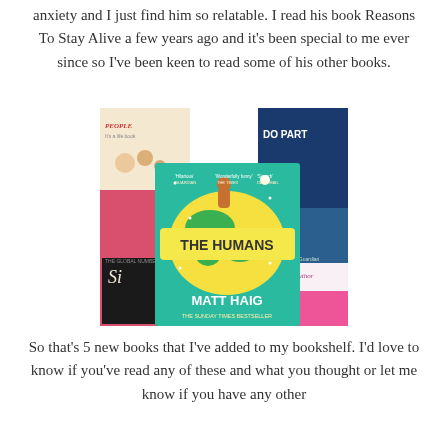anxiety and I just find him so relatable. I read his book Reasons To Stay Alive a few years ago and it's been special to me ever since so I've been keen to read some of his other books.
[Figure (photo): Photo of 'The Humans' book by Matt Haig (THE SUNDAY TIMES BESTSELLER) with a teal cover showing a dog sitting on a globe, surrounded by other books in the background.]
So that's 5 new books that I've added to my bookshelf. I'd love to know if you've read any of these and what you thought or let me know if you have any other